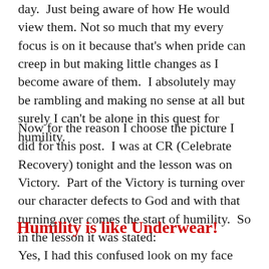day.  Just being aware of how He would view them.  Not so much that my every focus is on it because that's when pride can creep in but making little changes as I become aware of them.  I absolutely may be rambling and making no sense at all but surely I can't be alone in this quest for humility.
Now for the reason I choose the picture I did for this post.  I was at CR (Celebrate Recovery) tonight and the lesson was on Victory.  Part of the Victory is turning over our character defects to God and with that turning over comes the start of humility.  So in the lesson it was stated:
Humility is like Underwear!
Yes, I had this confused look on my face I'm sure.